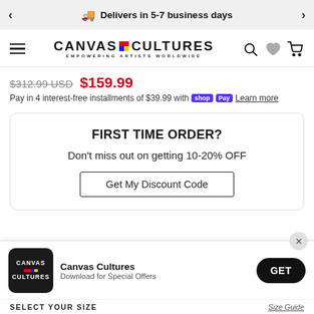Delivers in 5-7 business days
[Figure (logo): Canvas Cultures logo with colored squares and tagline EMPOWERING ARTISTS WORLDWIDE]
$312.99 USD  $159.99
Pay in 4 interest-free installments of $39.99 with shop Pay  Learn more
FIRST TIME ORDER?
Don't miss out on getting 10-20% OFF
Get My Discount Code
Canvas Cultures
Download for Special Offers
SELECT YOUR SIZE    Size Guide